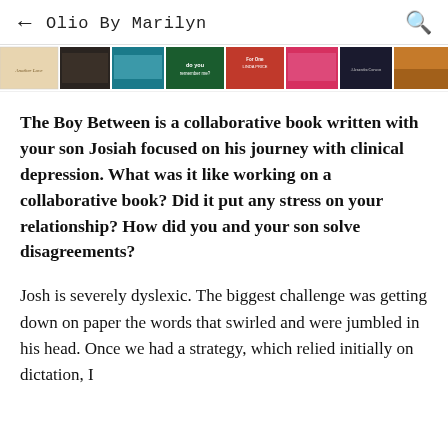← Olio By Marilyn 🔍
[Figure (illustration): A horizontal strip of book cover thumbnails showing approximately 8 book covers]
The Boy Between is a collaborative book written with your son Josiah focused on his journey with clinical depression. What was it like working on a collaborative book? Did it put any stress on your relationship? How did you and your son solve disagreements?
Josh is severely dyslexic. The biggest challenge was getting down on paper the words that swirled and were jumbled in his head. Once we had a strategy, which relied initially on dictation, I